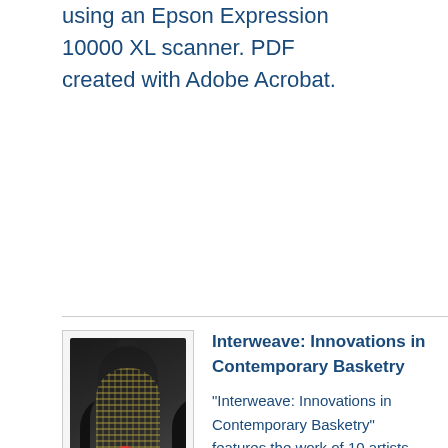using an Epson Expression 10000 XL scanner. PDF created with Adobe Acrobat.
[Figure (photo): A dark bottle-shaped sculptural basketry piece decorated with beads forming a grid pattern and a red circular element in the center, set against a light grey background.]
Interweave: Innovations in Contemporary Basketry
"Interweave: Innovations in Contemporary Basketry" features the work of 10 artists using unusual materials to make sculptural